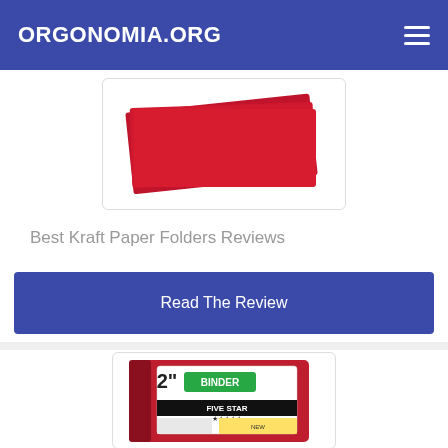ORGONOMIA.ORG
[Figure (photo): Three overlapping red kraft paper folders on a white background]
Best Kraft Paper Folders Reviews
Read The Review
[Figure (photo): Five Star 2-inch red binder product photo with packaging label showing '2" BINDER' and 'FIVE STAR' branding]